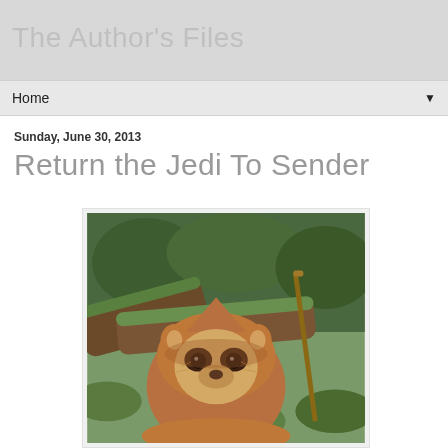The Author's Files
Home ▼
Sunday, June 30, 2013
Return the Jedi To Sender
[Figure (photo): A close-up photo of an Ewok character from Star Wars in a forest setting, wearing a brown hood, with moss-covered logs and green foliage in the background.]